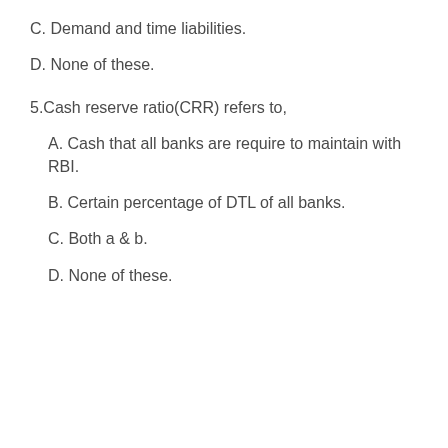C. Demand and time liabilities.
D. None of these.
5.Cash reserve ratio(CRR) refers to,
A. Cash that all banks are require to maintain with RBI.
B. Certain percentage of DTL of all banks.
C. Both a & b.
D. None of these.